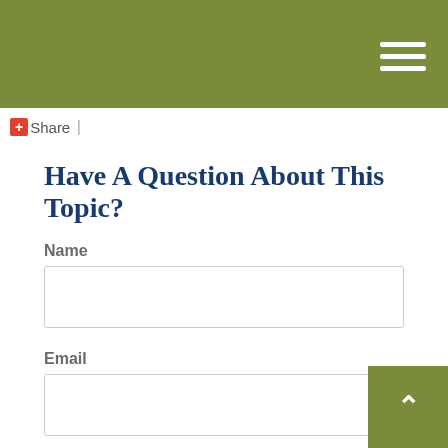+Share |
Have A Question About This Topic?
Name
Email
Question